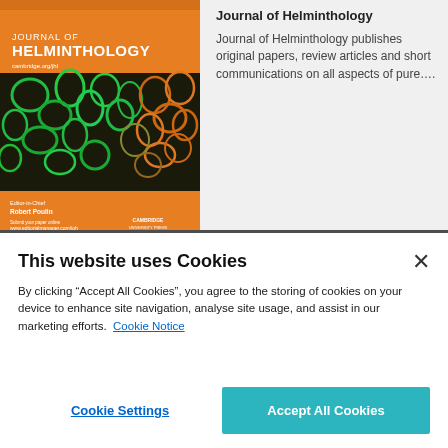[Figure (photo): Journal of Helminthology cover image showing orange and green microscopic imagery with text: JOURNAL OF HELMINTHOLOGY, cambridge.org/jhl, Editor-in-Chief Robert Poulin, Submit your paper online www.editorialmanager.com/joh, CAMBRIDGE UNIVERSITY PRESS]
Journal of Helminthology
Journal of Helminthology publishes original papers, review articles and short communications on all aspects of pure….
This website uses Cookies
By clicking “Accept All Cookies”, you agree to the storing of cookies on your device to enhance site navigation, analyse site usage, and assist in our marketing efforts. Cookie Notice
Cookie Settings
Accept All Cookies